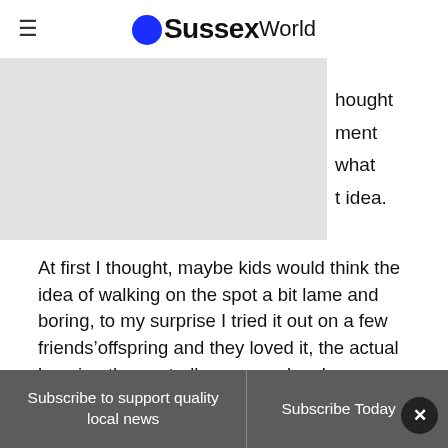OSussexWorld
[Figure (other): Gray placeholder image/advertisement block with partial text visible on the right: 'hought', 'ment', 'what', 't idea.']
At first I thought, maybe kids would think the idea of walking on the spot a bit lame and boring, to my surprise I tried it out on a few friends’offspring and they loved it, the actual keeping the controller powered up became a game in itself, and they tended to forget they
Subscribe to support quality local news | Subscribe Today